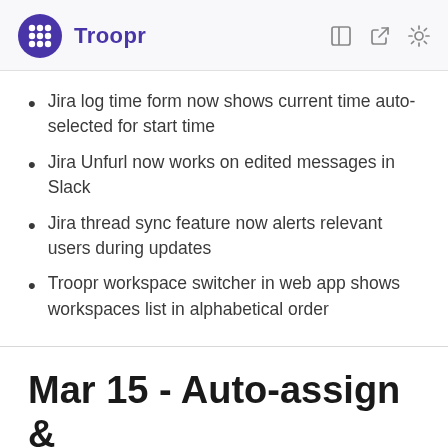Troopr
Jira log time form now shows current time auto-selected for start time
Jira Unfurl now works on edited messages in Slack
Jira thread sync feature now alerts relevant users during updates
Troopr workspace switcher in web app shows workspaces list in alphabetical order
Mar 15 - Auto-assign & Custom Help De...